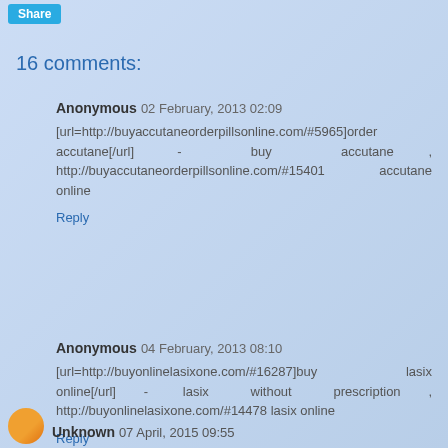Share
16 comments:
Anonymous 02 February, 2013 02:09
[url=http://buyaccutaneorderpillsonline.com/#5965]order accutane[/url] - buy accutane , http://buyaccutaneorderpillsonline.com/#15401 accutane online
Reply
Anonymous 04 February, 2013 08:10
[url=http://buyonlinelasixone.com/#16287]buy lasix online[/url] - lasix without prescription , http://buyonlinelasixone.com/#14478 lasix online
Reply
Unknown 07 April, 2015 09:55